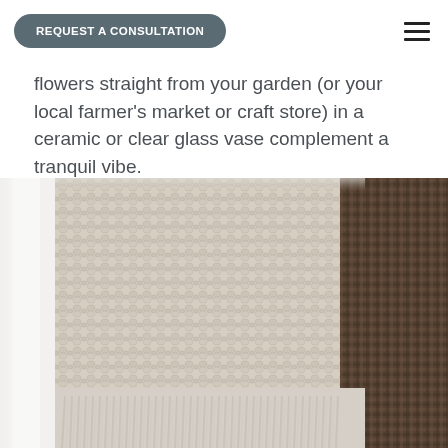REQUEST A CONSULTATION
flowers straight from your garden (or your local farmer's market or craft store) in a ceramic or clear glass vase complement a tranquil vibe.
[Figure (photo): Close-up photograph of chunky knitted cream/beige throw blanket with fringe, draped next to a dark woven basket. Soft natural light background on the left.]